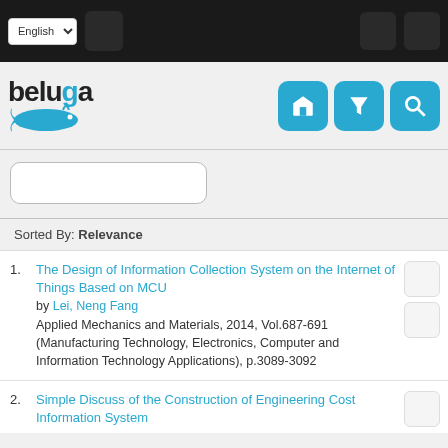beluga — English language selector, navigation icons
[Figure (screenshot): Beluga library search interface logo with whale illustration and blue action buttons (library, filter, search)]
Sorted By: Relevance
1. The Design of Information Collection System on the Internet of Things Based on MCU by Lei, Neng Fang. Applied Mechanics and Materials, 2014, Vol.687-691 (Manufacturing Technology, Electronics, Computer and Information Technology Applications), p.3089-3092
2. Simple Discuss of the Construction of Engineering Cost Information System